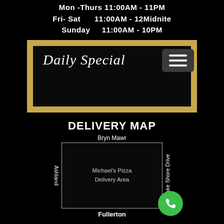Mon -Thurs 11:00AM - 11PM
Fri- Sat      11:00AM - 12Midnite
Sunday       11:00AM - 10PM
[Figure (illustration): Chalkboard frame with wood border displaying 'Daily Specials' in italic cursive text, with a hamburger menu button in the top right corner]
DELIVERY MAP
[Figure (map): Delivery area map showing Michael's Pizza Delivery Area bounded by Bryn Mawr (north), Fullerton (south), Ashland (west), and Lake Shore Drive (east)]